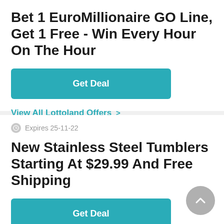Bet 1 EuroMillionaire GO Line, Get 1 Free - Win Every Hour On The Hour
Get Deal
View All Lottoland Offers >
Expires 25-11-22
New Stainless Steel Tumblers Starting At $29.99 And Free Shipping
Get Deal